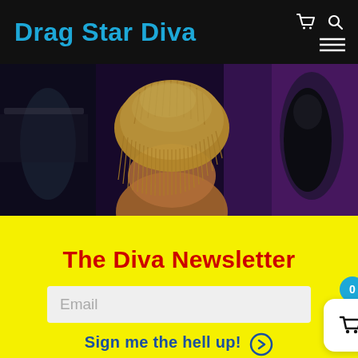Drag Star Diva
[Figure (photo): Back view of a person with blonde/yellow fringed hair in a dark event venue setting with purple lighting]
The Diva Newsletter
Email
Sign me the hell up!